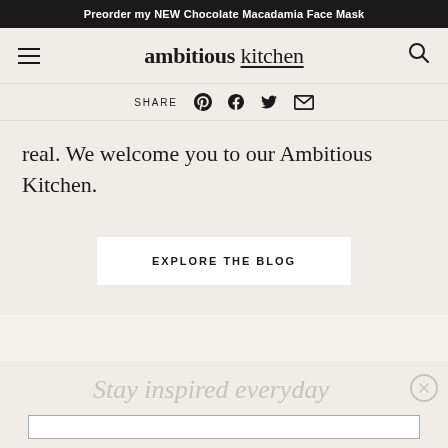Preorder my NEW Chocolate Macadamia Face Mask
[Figure (logo): Ambitious Kitchen logo with hamburger menu and search icon]
SHARE
real. We welcome you to our Ambitious Kitchen.
EXPLORE THE BLOG
Stay inspired everyday